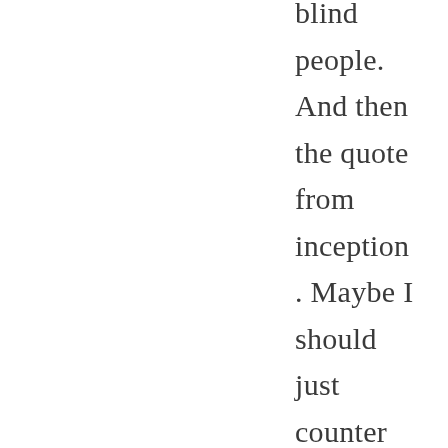blind people. And then the quote from inception. Maybe I should just counter with “I wonder, if you have even read the…”